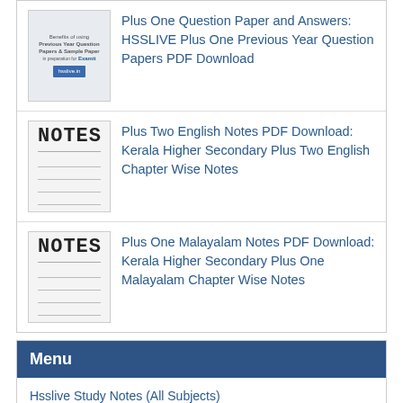Plus One Question Paper and Answers: HSSLIVE Plus One Previous Year Question Papers PDF Download
Plus Two English Notes PDF Download: Kerala Higher Secondary Plus Two English Chapter Wise Notes
Plus One Malayalam Notes PDF Download: Kerala Higher Secondary Plus One Malayalam Chapter Wise Notes
Menu
Hsslive Study Notes (All Subjects)
Hsslive Plus Two Study Notes (All Subjects)
Hsslive Plus One Study Notes (All Subjects)
Hsslive Malayalam
Hsslive Kaithang